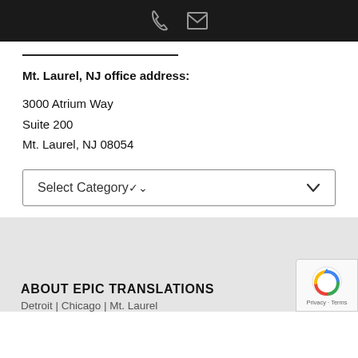[Figure (screenshot): Black top bar with phone icon and email/envelope icon]
Mt. Laurel, NJ office address:
3000 Atrium Way
Suite 200
Mt. Laurel, NJ 08054
[Figure (screenshot): Select Category dropdown box with down arrow]
ABOUT EPIC TRANSLATIONS
Detroit | Chicago | Mt. Laurel